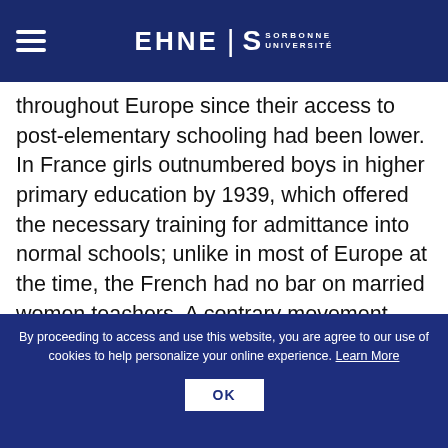EHNE | SORBONNE UNIVERSITÉ
throughout Europe since their access to post-elementary schooling had been lower. In France girls outnumbered boys in higher primary education by 1939, which offered the necessary training for admittance into normal schools; unlike in most of Europe at the time, the French had no bar on married women teachers. A contrary movement occurred in fascist Italy with the 1923 Gentile reform. Introducing a form of selection after five years of schooling, it sought to limit the overproduction of professionals. This had a specific
By proceeding to access and use this website, you are agree to our use of cookies to help personalize your online experience. Learn More
OK